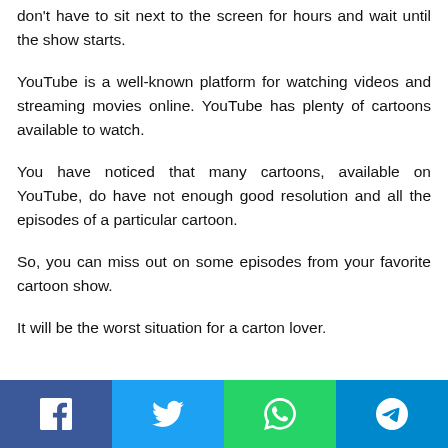don't have to sit next to the screen for hours and wait until the show starts.
YouTube is a well-known platform for watching videos and streaming movies online. YouTube has plenty of cartoons available to watch.
You have noticed that many cartoons, available on YouTube, do have not enough good resolution and all the episodes of a particular cartoon.
So, you can miss out on some episodes from your favorite cartoon show.
It will be the worst situation for a carton lover.
Social share bar: Facebook, Twitter, WhatsApp, Telegram